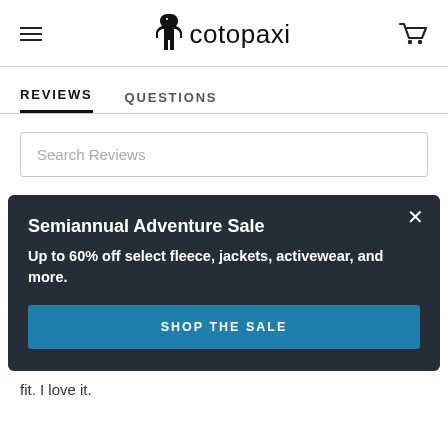[Figure (logo): Cotopaxi llama logo with text 'cotopaxi']
REVIEWS
QUESTIONS
Search Reviews
Semiannual Adventure Sale
Up to 60% off select fleece, jackets, activewear, and more.
SHOP THE SALE
fit. I love it.